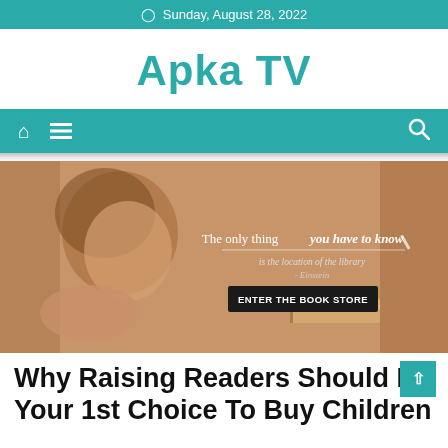Sunday, August 28, 2022
Apka TV
[Figure (screenshot): Navigation bar with home icon, hamburger menu icon on the left and search icon on the right, teal background]
[Figure (photo): Sepia-toned photo of a young child resting chin on hand looking downward, with stack of books visible. Overlay text reads: 'The only thing you have to know is the location of the library - Einstein' and a button 'ENTER THE BOOK STORE']
Why Raising Readers Should Be Your 1st Choice To Buy Children